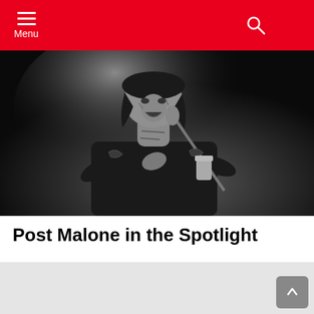Menu
[Figure (photo): Black and white photo of Post Malone performing on stage, singing into a microphone, wearing a black shirt with dragon embroidery, visible tattoos on neck and face]
Post Malone in the Spotlight
[Figure (other): Gray placeholder content block]